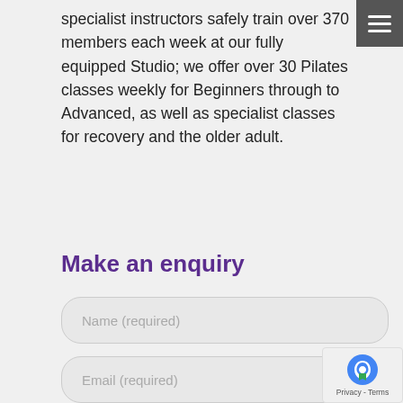specialist instructors safely train over 370 members each week at our fully equipped Studio; we offer over 30 Pilates classes weekly for Beginners through to Advanced, as well as specialist classes for recovery and the older adult.
Make an enquiry
Name (required)
Email (required)
Telephone (optional)
Please note that we always respond within 24 hours. Don't forget to check your spam!